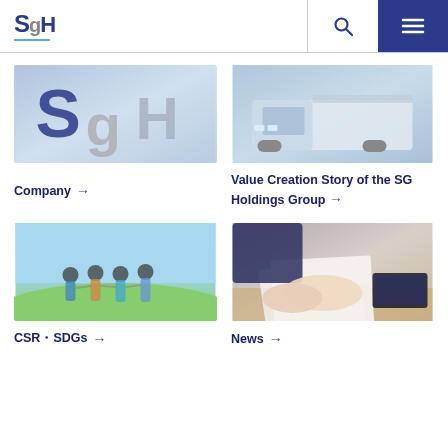SGH
[Figure (photo): SGH logo letters on building exterior]
Company →
[Figure (photo): White truck/lorry close-up]
Value Creation Story of the SG Holdings Group →
[Figure (photo): Children holding hands on a green hill against blue sky]
CSR・SDGs →
[Figure (photo): Person reviewing documents at a desk]
News →